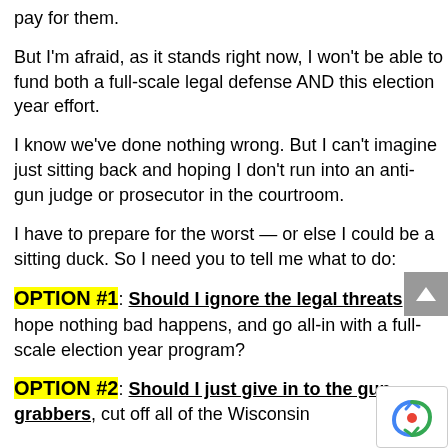pay for them.
But I'm afraid, as it stands right now, I won't be able to fund both a full-scale legal defense AND this election year effort.
I know we've done nothing wrong. But I can't imagine just sitting back and hoping I don't run into an anti-gun judge or prosecutor in the courtroom.
I have to prepare for the worst — or else I could be a sitting duck. So I need you to tell me what to do:
OPTION #1: Should I ignore the legal threats, hope nothing bad happens, and go all-in with a full-scale election year program?
OPTION #2: Should I just give in to the gun-grabbers, cut off all of the Wisconsin